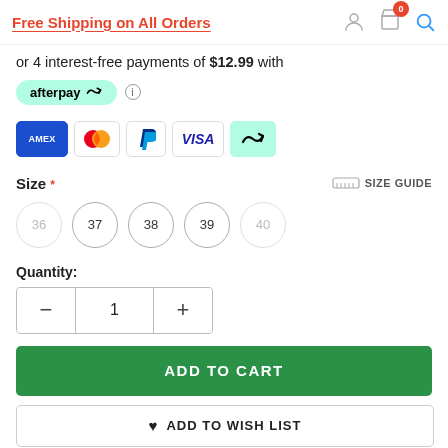Free Shipping on All Orders
or 4 interest-free payments of $12.99 with afterpay
[Figure (logo): Payment method icons: Amex, Mastercard, PayPal, Visa, Afterpay]
Size *
SIZE GUIDE
36 (unavailable)
37
38
39
40 (unavailable)
Quantity:
ADD TO CART
ADD TO WISH LIST